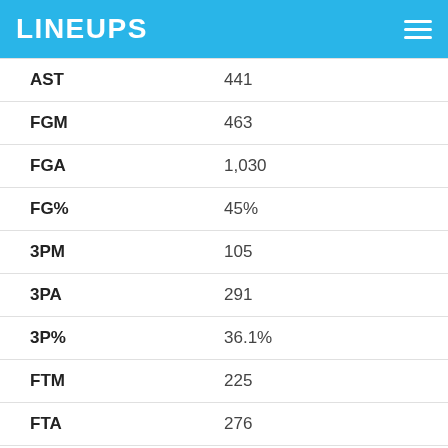LINEUPS
| Stat | Value |
| --- | --- |
| AST | 441 |
| FGM | 463 |
| FGA | 1,030 |
| FG% | 45% |
| 3PM | 105 |
| 3PA | 291 |
| 3P% | 36.1% |
| FTM | 225 |
| FTA | 276 |
| FT% | 81.5% |
| TOV | 150 |
| Rebounds |  |